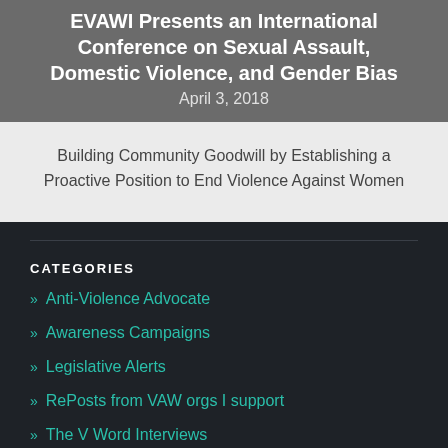EVAWI Presents an International Conference on Sexual Assault, Domestic Violence, and Gender Bias
April 3, 2018
Building Community Goodwill by Establishing a Proactive Position to End Violence Against Women
CATEGORIES
» Anti-Violence Advocate
» Awareness Campaigns
» Legislative Alerts
» RePosts from VAW orgs I support
» The V Word Interviews